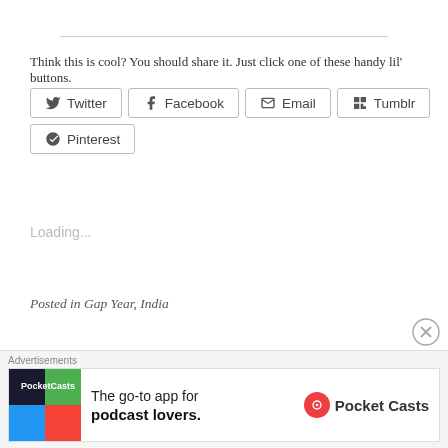Think this is cool? You should share it. Just click one of these handy lil' buttons.
[Figure (other): Social share buttons: Twitter, Facebook, Email, Tumblr, Pinterest]
Loading...
Posted in Gap Year, India
Of Seeds
[Figure (infographic): Advertisement banner: Pocket Casts - The go-to app for podcast lovers.]